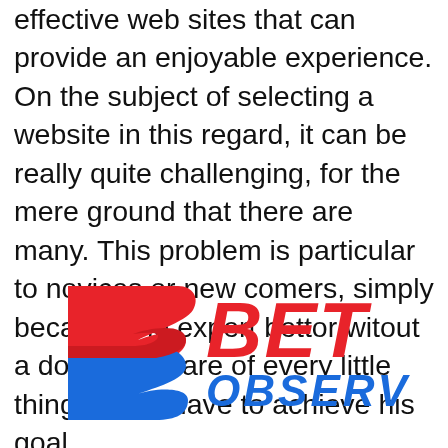effective web sites that can provide an enjoyable experience. On the subject of selecting a website in this regard, it can be really quite challenging, for the mere ground that there are many. This problem is particular to novices or new comers, simply because the expert bettor witout a doubt is aware of every little thing he will have to achieve his goal.
[Figure (logo): BetObserv logo: stylized blue and red double-arrow/ribbon icon on the left, with 'BET' in bold red italic and 'OBSERV' in bold blue italic on the right]